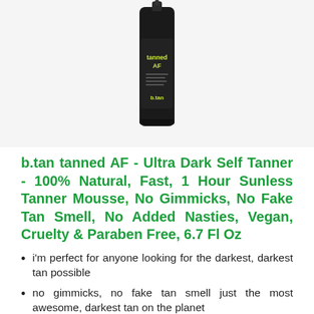[Figure (photo): Product photo of b.tan 'tanned AF' self tanner mousse — a tall dark/black cylindrical bottle with green text reading 'tanned AF' and 'b.tan' on the label.]
b.tan tanned AF - Ultra Dark Self Tanner - 100% Natural, Fast, 1 Hour Sunless Tanner Mousse, No Gimmicks, No Fake Tan Smell, No Added Nasties, Vegan, Cruelty & Paraben Free, 6.7 Fl Oz
i'm perfect for anyone looking for the darkest, darkest tan possible
no gimmicks, no fake tan smell just the most awesome, darkest tan on the planet
1 hour development time, leave on for 4+ hours for darker results
i'm 100% vegan, free of nasties like parabens and...